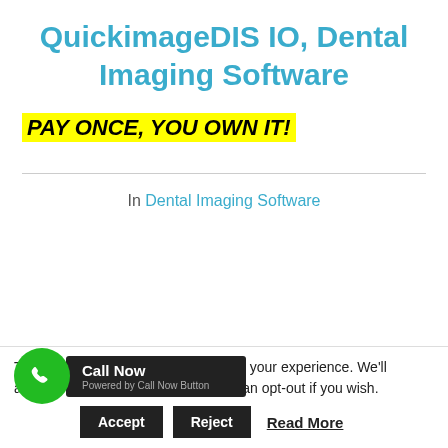QuickimageDIS IO, Dental Imaging Software
PAY ONCE, YOU OWN IT!
In Dental Imaging Software
This website uses cookies to improve your experience. We'll assume you're ok with this, but you can opt-out if you wish.
Call Now
Powered by Call Now Button
Accept  Reject  Read More